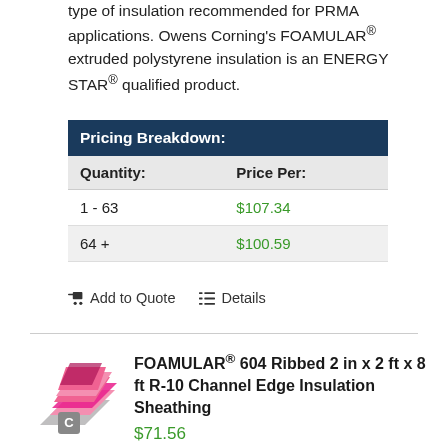type of insulation recommended for PRMA applications. Owens Corning's FOAMULAR® extruded polystyrene insulation is an ENERGY STAR® qualified product.
| Pricing Breakdown: |  |
| --- | --- |
| Quantity: | Price Per: |
| 1 - 63 | $107.34 |
| 64 + | $100.59 |
Add to Quote   Details
[Figure (photo): Pink FOAMULAR insulation board product image with a 'C' badge overlay]
FOAMULAR® 604 Ribbed 2 in x 2 ft x 8 ft R-10 Channel Edge Insulation Sheathing
$71.56
As low as $67.06/board